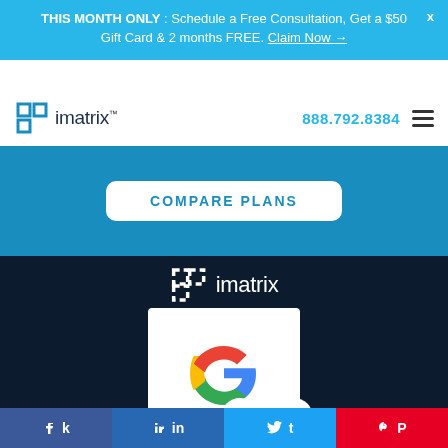THIS MONTH ONLY : Schedule a Free Consultation, Get a $50 Gift Card & 2 months FREE. Claim Now →
[Figure (logo): iMatrix logo in nav bar]
888.792.8384
COMPARE PLANS
[Figure (logo): iMatrix white logo on dark background]
[Figure (logo): Google Partner badge with Google G logo]
[Figure (infographic): Social media circle icons (Facebook, Twitter, LinkedIn)]
f  in  t  P